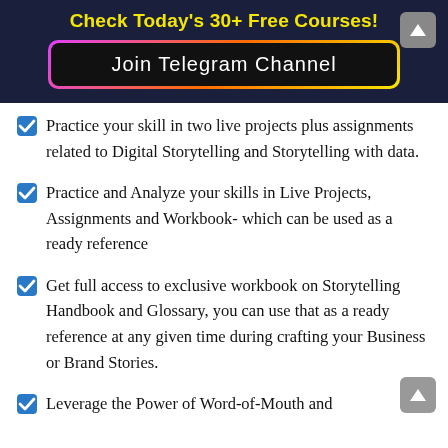Check Today's 30+ Free Courses!
[Figure (other): Join Telegram Channel button with gradient border on dark background]
Practice your skill in two live projects plus assignments related to Digital Storytelling and Storytelling with data.
Practice and Analyze your skills in Live Projects, Assignments and Workbook- which can be used as a ready reference
Get full access to exclusive workbook on Storytelling Handbook and Glossary, you can use that as a ready reference at any given time during crafting your Business or Brand Stories.
Leverage the Power of Word-of-Mouth and